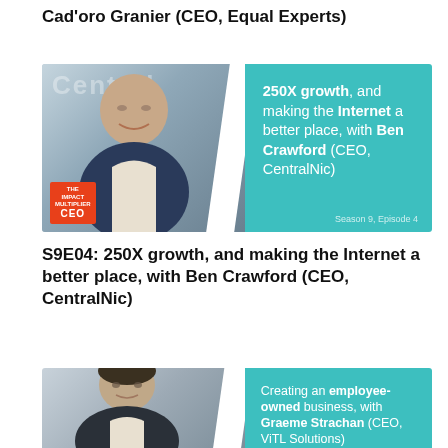Cad'oro Granier (CEO, Equal Experts)
[Figure (photo): Podcast episode card for S9E04 showing Ben Crawford (CEO, CentralNic) with teal background and text: 250X growth, and making the Internet a better place, with Ben Crawford (CEO, CentralNic). Season 9 Episode 4.]
S9E04: 250X growth, and making the Internet a better place, with Ben Crawford (CEO, CentralNic)
[Figure (photo): Podcast episode card showing Graeme Strachan (CEO, ViTL Solutions) with teal background and text: Creating an employee-owned business, with Graeme Strachan (CEO, ViTL Solutions).]